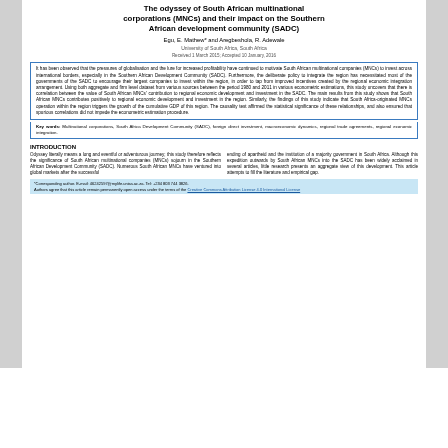The odyssey of South African multinational corporations (MNCs) and their impact on the Southern African development community (SADC)
Egu, E. Mathew* and Aregbeshola, R. Adewale
University of South Africa, South Africa
Received 1 March 2015; Accepted 10 January, 2016
It has been observed that the pressures of globalisation and the lure for increased profitability have continued to motivate South African multinational companies (MNCs) to invest across international borders, especially in the Southern African Development Community (SADC). Furthermore, the deliberate policy to integrate the region has necessitated most of the governments of the SADC to encourage their largest companies to invest within the region, in order to tap from improved incentives created by the regional economic integration arrangement. Using both aggregate and firm level dataset from various sources between the period 1980 and 2011 in various econometric estimations, this study uncovers that there is correlation between the value of South African MNCs' contribution to regional economic development and investment in the SADC. The main results from this study shows that South African MNCs contributes positively to regional economic development and investment in the region. Similarly, the findings of this study indicate that South Africa-originated MNCs operation within the region triggers the growth of the cumulative GDP of this region. The causality test affirmed the statistical significance of these relationships, and also ensured that spurious correlations did not impede the econometric estimation procedure.
Key words: Multinational corporations, South Africa Development Community (SADC), foreign direct investment, macroeconomic dynamics, regional trade agreements, regional economic integration.
INTRODUCTION
Odyssey literally means a long and eventful or adventurous journey; this study therefore reflects the significance of South African multinational companies (MNCs) sojourn in the Southern African Development Community (SADC). Numerous South African MNCs have ventured into global markets after the successful ending of apartheid and the institution of a majority government in South Africa. Although this expedition outwards by South African MNCs into the SADC has been widely acclaimed in several articles, little research presents an aggregate view of this development. This article attempts to fill the literature and empirical gap.
*Corresponding author. E-mail: 46242597@mylife.unisa.ac.za. Tel: +234 803 744 3826. Authors agree that this article remain permanently open access under the terms of the Creative Commons Attribution License 4.0 International License
PDF) The odyssey of South African multinational corpo...
Pin It
Share
Download